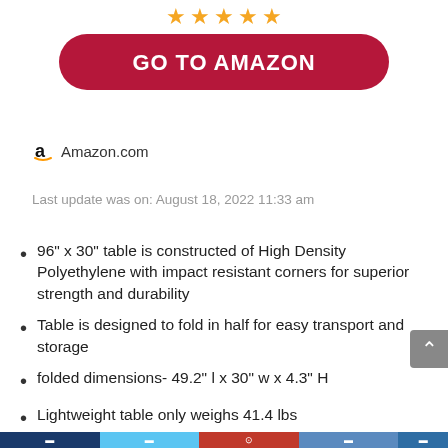[Figure (other): Five gold stars rating row at the top of the page]
[Figure (other): Dark red rounded button with white bold text: GO TO AMAZON]
[Figure (logo): Amazon logo (stylized 'a' with orange arrow smile) followed by text 'Amazon.com']
Last update was on: August 18, 2022 11:33 am
96" x 30" table is constructed of High Density Polyethylene with impact resistant corners for superior strength and durability
Table is designed to fold in half for easy transport and storage
folded dimensions- 49.2" l x 30" w x 4.3" H
Lightweight table only weighs 41.4 lbs
includes an easy carry handle